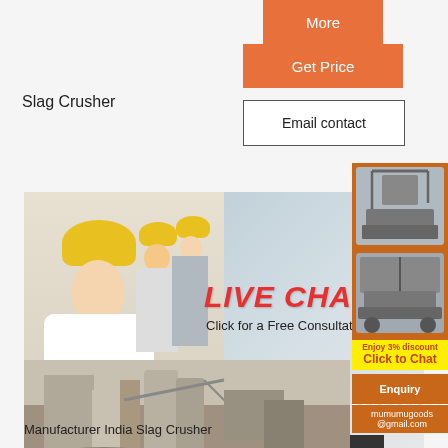More
Get Price
Email contact
Slag Crusher
Pla
[Figure (photo): Live chat popup with workers in yellow hard hats. Red LIVE CHAT title text, 'Click for a Free Consultation' subtitle, Chat now (red) and Chat later (dark) buttons.]
[Figure (photo): Right sidebar showing construction/mining machines on orange background]
Enjoy 3% discount
Click to Chat
Enquiry
mumumugoods @gmail.com
[Figure (photo): Industrial facility photo showing slag crusher plant with silos and conveyor structures]
Manufacturer India Slag Crusher